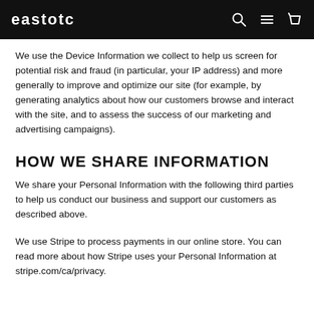eastOTC
We use the Device Information we collect to help us screen for potential risk and fraud (in particular, your IP address) and more generally to improve and optimize our site (for example, by generating analytics about how our customers browse and interact with the site, and to assess the success of our marketing and advertising campaigns).
HOW WE SHARE INFORMATION
We share your Personal Information with the following third parties to help us conduct our business and support our customers as described above.
We use Stripe to process payments in our online store. You can read more about how Stripe uses your Personal Information at stripe.com/ca/privacy.